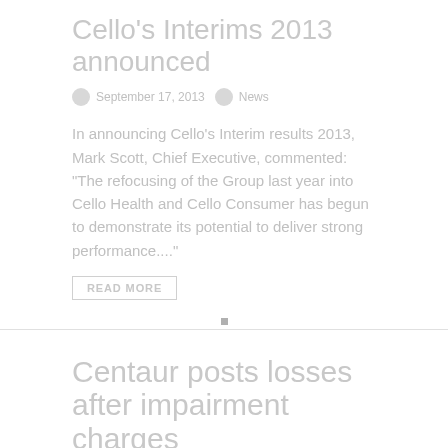Cello's Interims 2013 announced
September 17, 2013   News
In announcing Cello's Interim results 2013, Mark Scott, Chief Executive, commented: "The refocusing of the Group last year into Cello Health and Cello Consumer has begun to demonstrate its potential to deliver strong performance...."
READ MORE
Centaur posts losses after impairment charges
September 13, 2013   News
Centaur posts pre-tax losses for 2013 of £3.74m (2012: profit £2.7m) after impairment charges. Revenues also struggle...